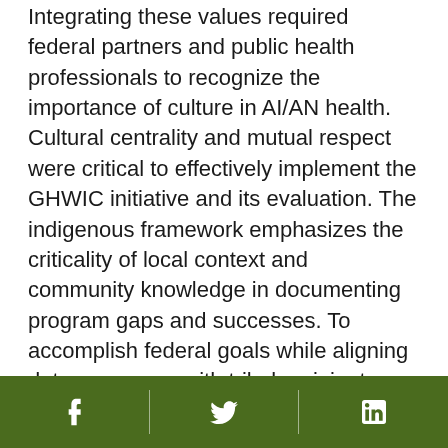Integrating these values required federal partners and public health professionals to recognize the importance of culture in AI/AN health. Cultural centrality and mutual respect were critical to effectively implement the GHWIC initiative and its evaluation. The indigenous framework emphasizes the criticality of local context and community knowledge in documenting program gaps and successes. To accomplish federal goals while aligning data processes with tribal recipient values, GHWIC established a systematic approach to promote bidirectional learning for both program and evaluation implementation. Technical assistance (TA) was provided to recipients through the Evaluation TA Exchange Partners (EEPs) model. The EEPs model involved members of the GHWIC evaluation team, which included CDC and HHS staff, to provide
Facebook | Twitter | LinkedIn